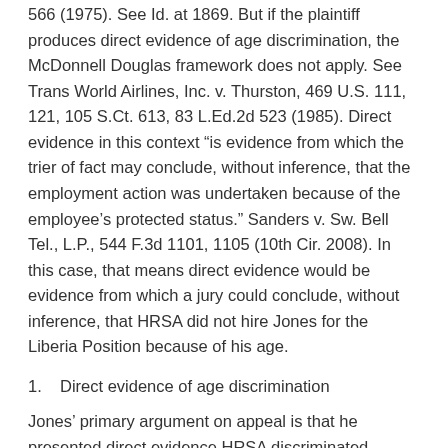566 (1975). See Id. at 1869. But if the plaintiff produces direct evidence of age discrimination, the McDonnell Douglas framework does not apply. See Trans World Airlines, Inc. v. Thurston, 469 U.S. 111, 121, 105 S.Ct. 613, 83 L.Ed.2d 523 (1985). Direct evidence in this context “is evidence from which the trier of fact may conclude, without inference, that the employment action was undertaken because of the employee’s protected status.” Sanders v. Sw. Bell Tel., L.P., 544 F.3d 1101, 1105 (10th Cir. 2008). In this case, that means direct evidence would be evidence from which a jury could conclude, without inference, that HRSA did not hire Jones for the Liberia Position because of his age.
1.    Direct evidence of age discrimination
Jones’ primary argument on appeal is that he presented direct evidence HRSA discriminated against him on the basis of age and therefore the district court erred in evaluating his claim under the McDonnell Douglas framework. The